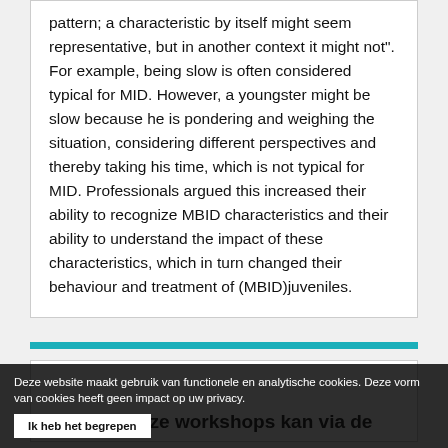pattern; a characteristic by itself might seem representative, but in another context it might not". For example, being slow is often considered typical for MID. However, a youngster might be slow because he is pondering and weighing the situation, considering different perspectives and thereby taking his time, which is not typical for MID. Professionals argued this increased their ability to recognize MBID characteristics and their ability to understand the impact of these characteristics, which in turn changed their behaviour and treatment of (MBID)juveniles.
voor deze workshops kan via de
Deze website maakt gebruik van functionele en analytische cookies. Deze vorm van cookies heeft geen impact op uw privacy. Ik heb het begrepen